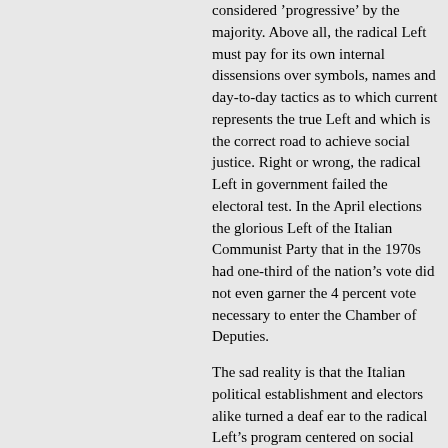considered ’progressive’ by the majority. Above all, the radical Left must pay for its own internal dissensions over symbols, names and day-to-day tactics as to which current represents the true Left and which is the correct road to achieve social justice. Right or wrong, the radical Left in government failed the electoral test. In the April elections the glorious Left of the Italian Communist Party that in the 1970s had one-third of the nation’s vote did not even garner the 4 percent vote necessary to enter the Chamber of Deputies.
The sad reality is that the Italian political establishment and electors alike turned a deaf ear to the radical Left’s program centered on social justice.
Social justice
Karl Marx is credited with coining the phrase "social justice." However, since the times of absolutism no one has been be able to conscientiously oppose the pursuit of social justice in a just society, of which the Left has been the vanguard. Opposition to social